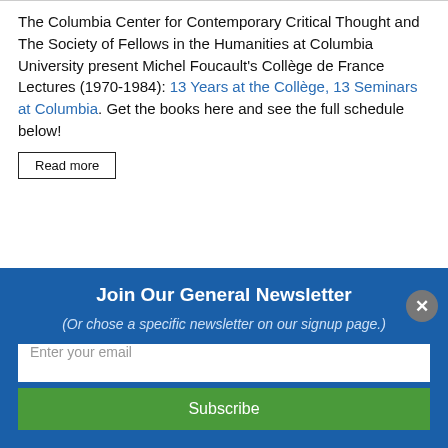The Columbia Center for Contemporary Critical Thought and The Society of Fellows in the Humanities at Columbia University present Michel Foucault's Collège de France Lectures (1970-1984): 13 Years at the Collège, 13 Seminars at Columbia. Get the books here and see the full schedule below!
Read more
Join Our General Newsletter
(Or chose a specific newsletter on our signup page.)
Enter your email
Subscribe